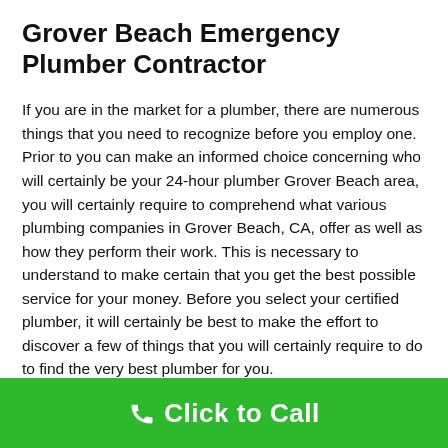Grover Beach Emergency Plumber Contractor
If you are in the market for a plumber, there are numerous things that you need to recognize before you employ one. Prior to you can make an informed choice concerning who will certainly be your 24-hour plumber Grover Beach area, you will certainly require to comprehend what various plumbing companies in Grover Beach, CA, offer as well as how they perform their work. This is necessary to understand to make certain that you get the best possible service for your money. Before you select your certified plumber, it will certainly be best to make the effort to discover a few of things that you will certainly require to do to find the very best plumber for you.
One of the first things you will wish to do before working with a plumbing contractor, Grover Beach, CA, is to check
Click to Call